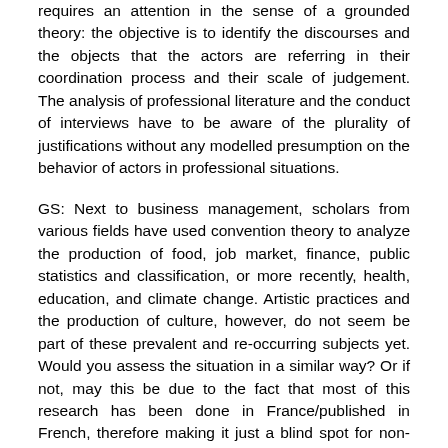requires an attention in the sense of a grounded theory: the objective is to identify the discourses and the objects that the actors are referring in their coordination process and their scale of judgement. The analysis of professional literature and the conduct of interviews have to be aware of the plurality of justifications without any modelled presumption on the behavior of actors in professional situations.
GS: Next to business management, scholars from various fields have used convention theory to analyze the production of food, job market, finance, public statistics and classification, or more recently, health, education, and climate change. Artistic practices and the production of culture, however, do not seem be part of these prevalent and re-occurring subjects yet. Would you assess the situation in a similar way? Or if not, may this be due to the fact that most of this research has been done in France/published in French, therefore making it just a blind spot for non-French speaking convention theory researchers?